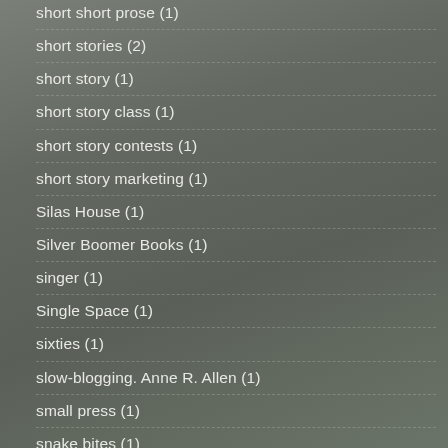short short prose (1)
short stories (2)
short story (1)
short story class (1)
short story contests (1)
short story marketing (1)
Silas House (1)
Silver Boomer Books (1)
singer (1)
Single Space (1)
sixties (1)
slow-blogging. Anne R. Allen (1)
small press (1)
snake bites (1)
snakes (1)
snow (2)
snow at Christmas (1)
snowy day (1)
social distancing (1)